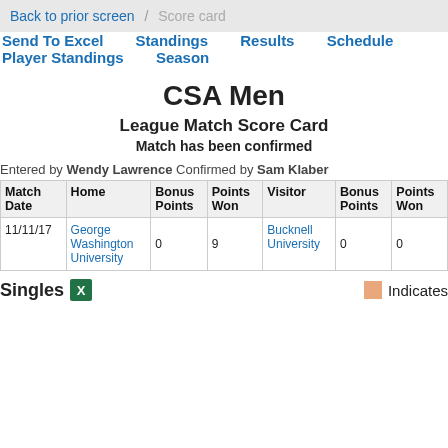Back to prior screen / Score card
Send To Excel
Standings
Results
Schedule
Player Standings
Season
CSA Men
League Match Score Card
Match has been confirmed
Entered by Wendy Lawrence Confirmed by Sam Klaber
| Match Date | Home | Bonus Points | Points Won | Visitor | Bonus Points | Points Won |
| --- | --- | --- | --- | --- | --- | --- |
| 11/11/17 | George Washington University | 0 | 9 | Bucknell University | 0 | 0 |
Singles
Indicates